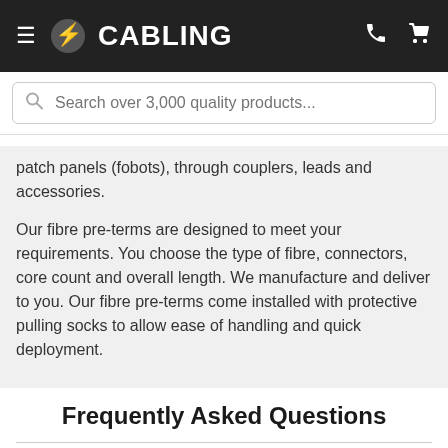≡ ⚡CABLING
patch panels (fobots), through couplers, leads and accessories.
Our fibre pre-terms are designed to meet your requirements. You choose the type of fibre, connectors, core count and overall length. We manufacture and deliver to you. Our fibre pre-terms come installed with protective pulling socks to allow ease of handling and quick deployment.
Frequently Asked Questions
What is the best fibre for your install?